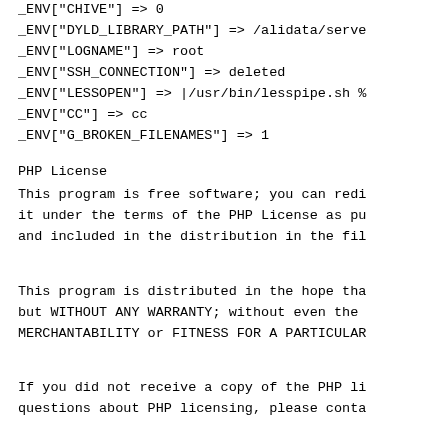_ENV["CHIVE"] => 0
_ENV["DYLD_LIBRARY_PATH"] => /alidata/serve
_ENV["LOGNAME"] => root
_ENV["SSH_CONNECTION"] => deleted
_ENV["LESSOPEN"] => |/usr/bin/lesspipe.sh %
_ENV["CC"] => cc
_ENV["G_BROKEN_FILENAMES"] => 1
PHP License
This program is free software; you can redi
it under the terms of the PHP License as pu
and included in the distribution in the fil
This program is distributed in the hope tha
but WITHOUT ANY WARRANTY; without even the
MERCHANTABILITY or FITNESS FOR A PARTICULAR
If you did not receive a copy of the PHP li
questions about PHP licensing, please conta